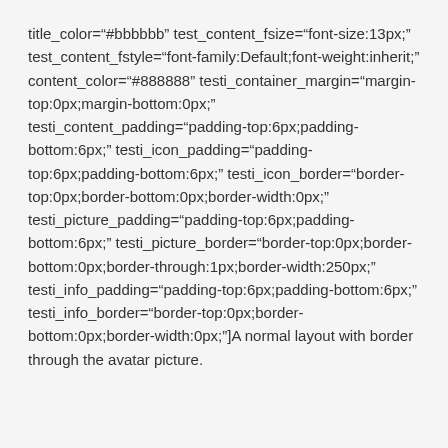title_color="#bbbbbb" test_content_fsize="font-size:13px;" test_content_fstyle="font-family:Default;font-weight:inherit;" content_color="#888888" testi_container_margin="margin-top:0px;margin-bottom:0px;" testi_content_padding="padding-top:6px;padding-bottom:6px;" testi_icon_padding="padding-top:6px;padding-bottom:6px;" testi_icon_border="border-top:0px;border-bottom:0px;border-width:0px;" testi_picture_padding="padding-top:6px;padding-bottom:6px;" testi_picture_border="border-top:0px;border-bottom:0px;border-through:1px;border-width:250px;" testi_info_padding="padding-top:6px;padding-bottom:6px;" testi_info_border="border-top:0px;border-bottom:0px;border-width:0px;"]A normal layout with border through the avatar picture.